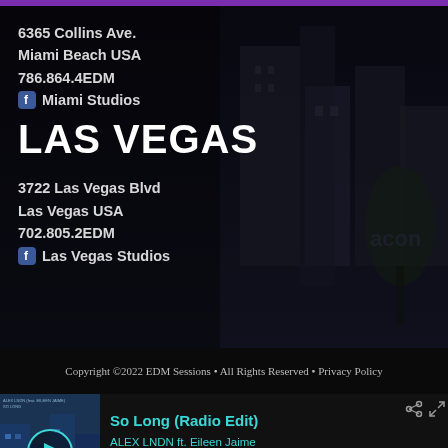6365 Collins Ave.
Miami Beach USA
786.864.4EDM
f  Miami Studios
LAS VEGAS
3722 Las Vegas Blvd
Las Vegas USA
702.805.2EDM
f  Las Vegas Studios
Copyright ©2022 EDM Sessions • All Rights Reserved • Privacy Policy
[Figure (screenshot): Music player bar showing album art for 'So Long (Radio Edit)' by ALEX LNDN ft. Eileen Jaime, with a play button, progress bar, volume icon, menu and queue buttons, and time display 00:00]